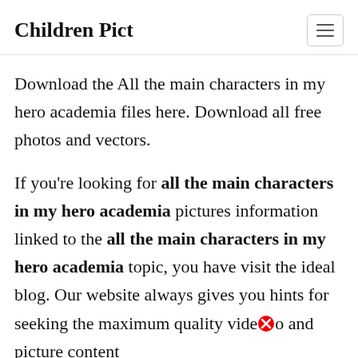Children Pict
Download the All the main characters in my hero academia files here. Download all free photos and vectors.
If you're looking for all the main characters in my hero academia pictures information linked to the all the main characters in my hero academia topic, you have visit the ideal blog. Our website always gives you hints for seeking the maximum quality video and picture content